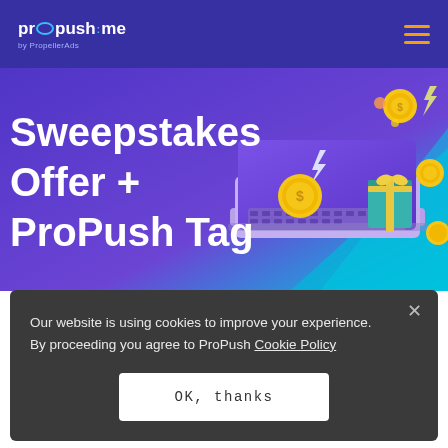propush.me by PropellerAds
[Figure (illustration): Hero banner with purple/teal gradient background showing a laptop with gold coins and gift boxes floating around it. Large white bold text reads 'Sweepstakes Offer + ProPush Tag']
Sweepstakes Offer + ProPush Tag
Check out another
Our website is using cookies to improve your experience. By proceeding you agree to ProPush Cookie Policy
OK, thanks